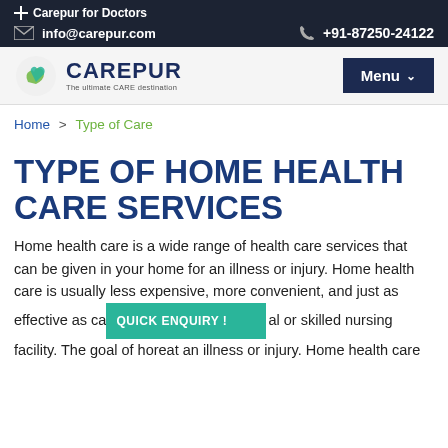+ Carepur for Doctors
info@carepur.com  +91-87250-24122
[Figure (logo): Carepur logo with two figures and text 'CAREPUR - The ultimate CARE destination']
Menu
Home > Type of Care
TYPE OF HOME HEALTH CARE SERVICES
Home health care is a wide range of health care services that can be given in your home for an illness or injury. Home health care is usually less expensive, more convenient, and just as effective as care given in a hospital or skilled nursing facility. The goal of home health care is to treat an illness or injury. Home health care
QUICK ENQUIRY !